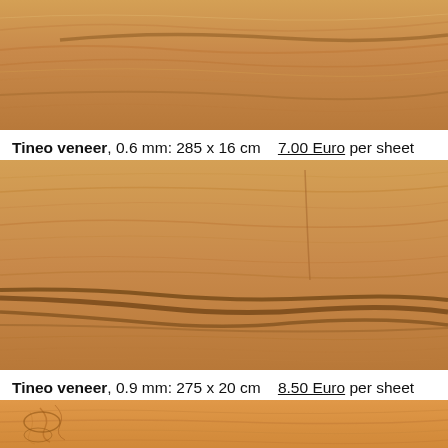[Figure (photo): Close-up photo of Tineo wood veneer showing light golden-brown grain with darker wavy streaks, top portion of page]
Tineo veneer, 0.6 mm: 285 x 16 cm    7.00 Euro per sheet
[Figure (photo): Close-up photo of Tineo wood veneer showing warm golden-brown grain with prominent dark wavy streaks near the bottom]
Tineo veneer, 0.9 mm: 275 x 20 cm    8.50 Euro per sheet
[Figure (photo): Close-up photo of Tineo wood veneer with orange-brown color and irregular curly grain patterns with darker markings]